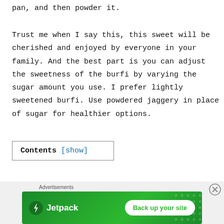pan, and then powder it.
Trust me when I say this, this sweet will be cherished and enjoyed by everyone in your family. And the best part is you can adjust the sweetness of the burfi by varying the sugar amount you use. I prefer lightly sweetened burfi. Use powdered jaggery in place of sugar for healthier options.
Contents [show]
[Figure (screenshot): Jetpack advertisement banner with logo and 'Back up your site' button on green background]